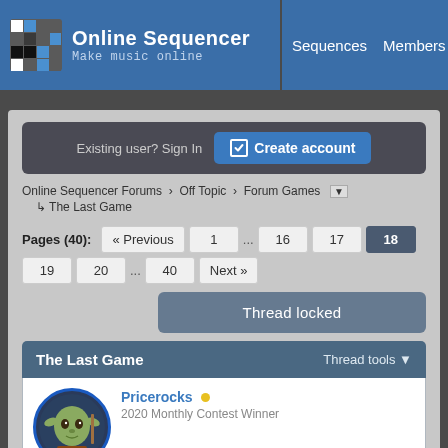[Figure (logo): Online Sequencer logo grid icon]
Online Sequencer
Make music online
Sequences   Members
Existing user? Sign In   Create account
Online Sequencer Forums › Off Topic › Forum Games ▼
↳ The Last Game
Pages (40): « Previous  1  ...  16  17  18  19  20  ...  40  Next »
Thread locked
The Last Game
Thread tools ▼
Pricerocks
2020 Monthly Contest Winner